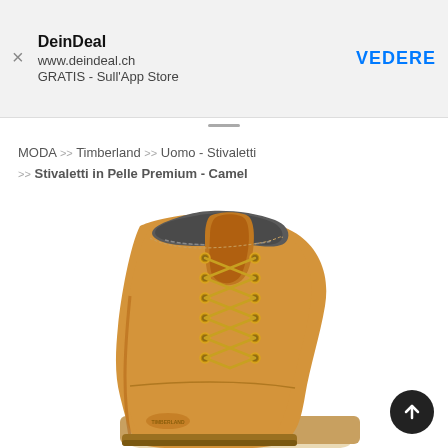[Figure (screenshot): Mobile app banner for DeinDeal showing app name, URL www.deindeal.ch, and GRATIS - Sull'App Store text with a VEDERE (SEE) call-to-action button on the right, and an X close button on the left.]
MODA >> Timberland >> Uomo - Stivaletti >> Stivaletti in Pelle Premium - Camel
[Figure (photo): Close-up photo of a Timberland wheat/camel colored premium leather boot with dark grey collar padding, gold eyelets, and tan laces, shown on a white background. Only the upper portion of the boot is visible, cropped at the ankle area.]